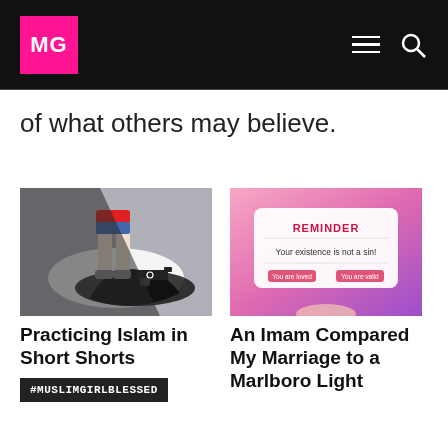MG
of what others may believe.
[Figure (illustration): Illustration of a person's legs in short shorts standing over a dark shadow silhouette holding a gun]
Practicing Islam in Short Shorts
#MUSLIMGIRLBLESSED
[Figure (screenshot): A pink/purple gradient card with a reminder: 'REMINDER - Your existence is not a sin! You are loved. You are valid.']
An Imam Compared My Marriage to a Marlboro Light